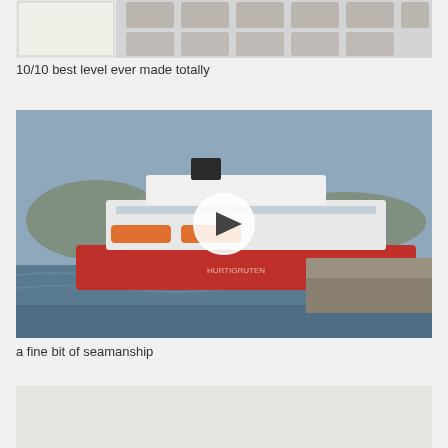[Figure (screenshot): Top portion of a screenshot showing a tiled/pattern image with decorative elements]
10/10 best level ever made totally
[Figure (photo): A large red and white cruise/ferry ship docking at a port in rough water conditions, with a play button overlay indicating this is a video thumbnail]
a fine bit of seamanship
[Figure (photo): Bottom partial image, light colored, content partially visible]